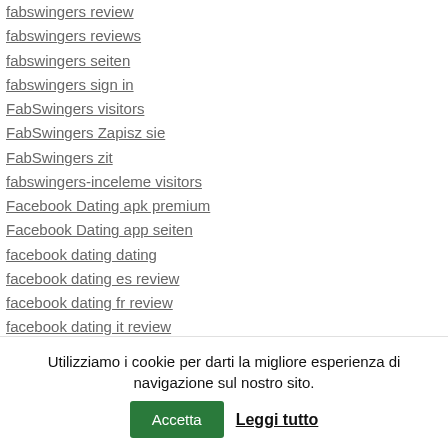fabswingers review
fabswingers reviews
fabswingers seiten
fabswingers sign in
FabSwingers visitors
FabSwingers Zapisz sie
FabSwingers zit
fabswingers-inceleme visitors
Facebook Dating apk premium
Facebook Dating app seiten
facebook dating dating
facebook dating es review
facebook dating fr review
facebook dating it review
Facebook Dating kasowac
facebook dating login
Utilizziamo i cookie per darti la migliore esperienza di navigazione sul nostro sito. Accetta Leggi tutto